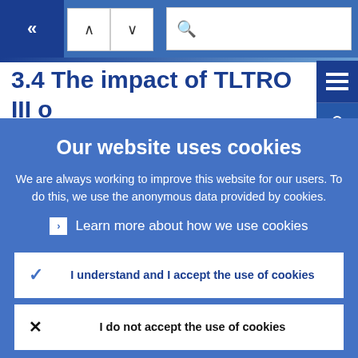Navigation bar with back arrow, up/down arrows, and search field
3.4 The impact of TLTRO III o banks and their lending
Our website uses cookies
We are always working to improve this website for our users. To do this, we use the anonymous data provided by cookies.
Learn more about how we use cookies
I understand and I accept the use of cookies
I do not accept the use of cookies